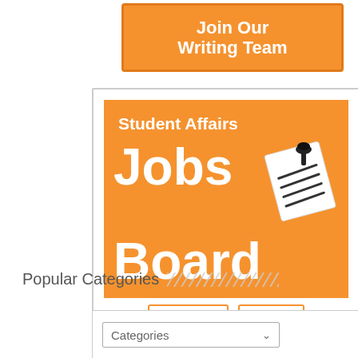[Figure (infographic): Orange banner with white bold text reading 'Join Our Writing Team']
[Figure (infographic): Orange Student Affairs Jobs Board widget with 'Search' and 'Post' buttons and a paper-and-pin illustration]
Popular Categories
[Figure (other): Categories dropdown selector inside a bordered box]